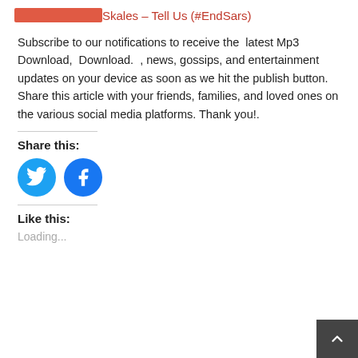Skales – Tell Us (#EndSars)
Subscribe to our notifications to receive the  latest Mp3 Download,  Download.  , news, gossips, and entertainment updates on your device as soon as we hit the publish button. Share this article with your friends, families, and loved ones on the various social media platforms. Thank you!.
Share this:
[Figure (other): Twitter and Facebook circular share buttons]
Like this:
Loading...